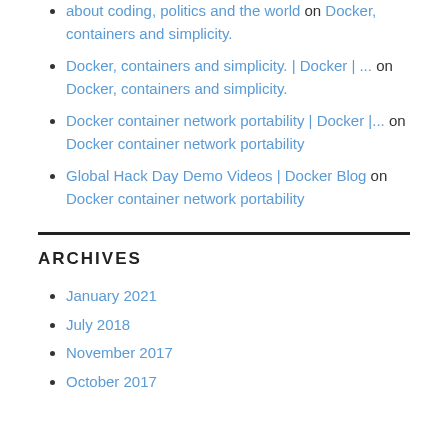about coding, politics and the world on Docker, containers and simplicity.
Docker, containers and simplicity. | Docker | ... on Docker, containers and simplicity.
Docker container network portability | Docker |... on Docker container network portability
Global Hack Day Demo Videos | Docker Blog on Docker container network portability
ARCHIVES
January 2021
July 2018
November 2017
October 2017